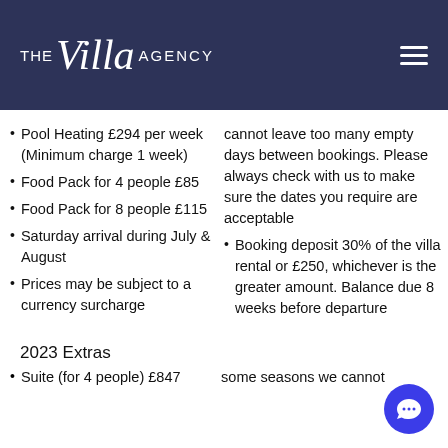THE Villa AGENCY
Pool Heating £294 per week (Minimum charge 1 week)
Food Pack for 4 people £85
Food Pack for 8 people £115
Saturday arrival during July & August
Prices may be subject to a currency surcharge
cannot leave too many empty days between bookings. Please always check with us to make sure the dates you require are acceptable
Booking deposit 30% of the villa rental or £250, whichever is the greater amount. Balance due 8 weeks before departure
2023 Extras
Suite (for 4 people) £847
some seasons we cannot